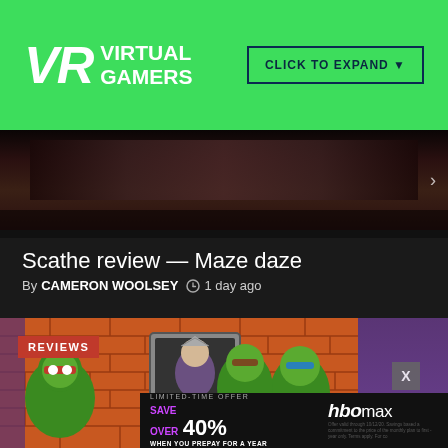[Figure (logo): VR Virtual Gamers logo on green banner with CLICK TO EXPAND button]
[Figure (photo): Dark game screenshot strip at top of article]
Scathe review — Maze daze
By CAMERON WOOLSEY  1 day ago
[Figure (screenshot): Teenage Mutant Ninja Turtles cartoon image with REVIEWS badge overlay and HBO Max limited-time offer advertisement at bottom]